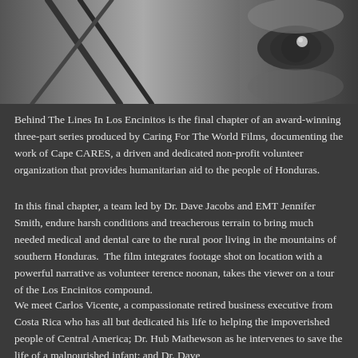[Figure (photo): Black and white close-up photograph of a person's face, showing an eye and part of a hand with fingers raised near the face.]
Behind The Lines In Los Encinitos is the final chapter of an award-winning three-part series produced by Caring For The World Films, documenting the work of Cape CARES, a driven and dedicated non-profit volunteer organization that provides humanitarian aid to the people of Honduras.
In this final chapter, a team led by Dr. Dave Jacobs and EMT Jennifer Smith, endure harsh conditions and treacherous terrain to bring much needed medical and dental care to the rural poor living in the mountains of southern Honduras.  The film integrates footage shot on location with a powerful narrative as volunteer terence noonan, takes the viewer on a tour of the Los Encinitos compound.
We meet Carlos Vicente, a compassionate retired business executive from Costa Rica who has all but dedicated his life to helping the impoverished people of Central America; Dr. Hub Mathewson as he intervenes to save the life of a malnourished infant; and Dr. Dave